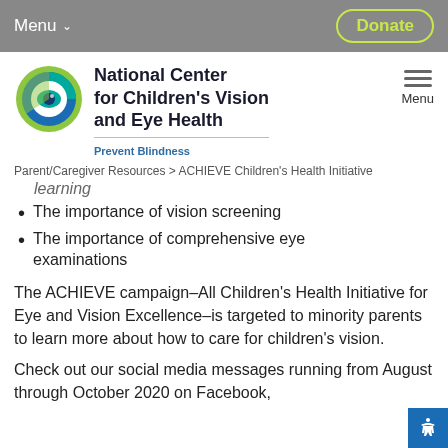Menu  Donate
[Figure (logo): National Center for Children's Vision and Eye Health logo with circular eye graphic in blue, green, and teal]
National Center for Children's Vision and Eye Health
Prevent Blindness
Parent/Caregiver Resources > ACHIEVE Children's Health Initiative
learning
The importance of vision screening
The importance of comprehensive eye examinations
The ACHIEVE campaign–All Children's Health Initiative for Eye and Vision Excellence–is targeted to minority parents to learn more about how to care for children's vision.
Check out our social media messages running from August through October 2020 on Facebook,